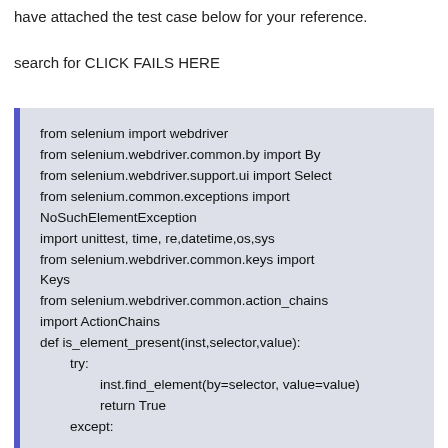have attached the test case below for your reference.
search for CLICK FAILS HERE
[Figure (screenshot): Code block showing Python Selenium imports and a function definition. Contains: from selenium import webdriver, from selenium.webdriver.common.by import By, from selenium.webdriver.support.ui import Select, from selenium.common.exceptions import NoSuchElementException, import unittest, time, re,datetime,os,sys, from selenium.webdriver.common.keys import Keys, from selenium.webdriver.common.action_chains import ActionChains, def is_element_present(inst,selector,value):, try:, inst.find_element(by=selector, value=value), return True, except:]